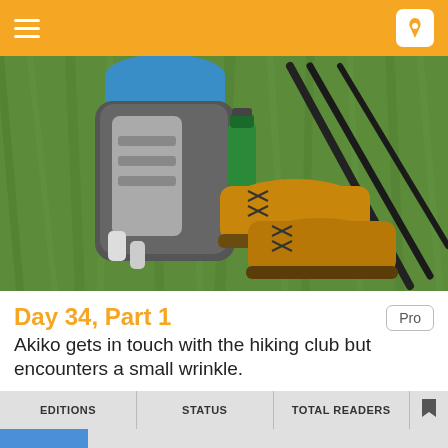≡  [navigation icon]
[Figure (photo): Hiking gear laid out on green grass: backpack with grey and black panels, yellow/brown hiking boots, green water bottle, and two black trekking poles]
Day 34, Part 1
Akiko gets in touch with the hiking club but encounters a small wrinkle.
Notes: This article contains good vocabulary and grammar related to making arrangements to participate in group activities.
| EDITIONS | STATUS | TOTAL READERS |  |
| --- | --- | --- | --- |
|  |  |  |  |